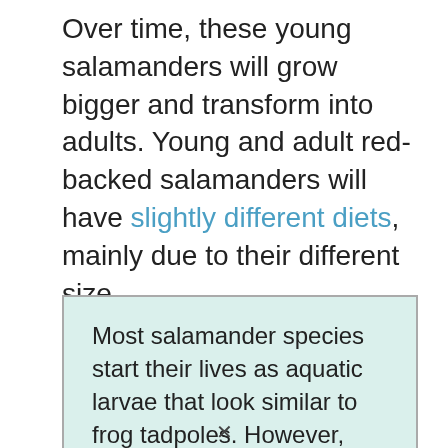Over time, these young salamanders will grow bigger and transform into adults. Young and adult red-backed salamanders will have slightly different diets, mainly due to their different size.
Most salamander species start their lives as aquatic larvae that look similar to frog tadpoles. However, red-backed salamanders do not have a larval stage. They are fully developed when they hatch and live a fully terrestrial life for their entire life cycle.